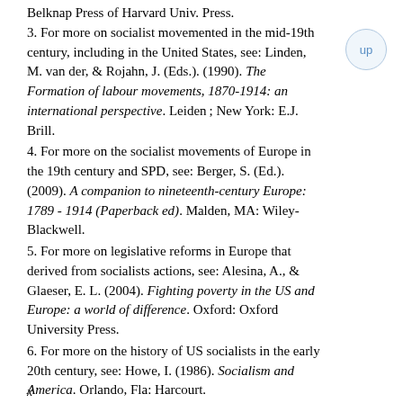Belknap Press of Harvard Univ. Press.
3. For more on socialist movemented in the mid-19th century, including in the United States, see: Linden, M. van der, & Rojahn, J. (Eds.). (1990). The Formation of labour movements, 1870-1914: an international perspective. Leiden; New York: E.J. Brill.
4. For more on the socialist movements of Europe in the 19th century and SPD, see: Berger, S. (Ed.). (2009). A companion to nineteenth-century Europe: 1789 - 1914 (Paperback ed). Malden, MA: Wiley-Blackwell.
5. For more on legislative reforms in Europe that derived from socialists actions, see: Alesina, A., & Glaeser, E. L. (2004). Fighting poverty in the US and Europe: a world of difference. Oxford: Oxford University Press.
6. For more on the history of US socialists in the early 20th century, see: Howe, I. (1986). Socialism and America. Orlando, Fla: Harcourt.
x